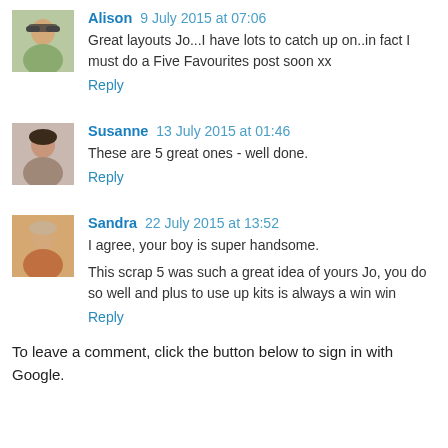[Figure (photo): Avatar photo of Alison - woman with sunglasses outdoors]
Alison 9 July 2015 at 07:06
Great layouts Jo...I have lots to catch up on..in fact I must do a Five Favourites post soon xx
Reply
[Figure (photo): Avatar photo of Susanne - woman with dark hair]
Susanne 13 July 2015 at 01:46
These are 5 great ones - well done.
Reply
[Figure (photo): Avatar photo of Sandra - older woman with light hair]
Sandra 22 July 2015 at 13:52
I agree, your boy is super handsome.

This scrap 5 was such a great idea of yours Jo, you do so well and plus to use up kits is always a win win
Reply
To leave a comment, click the button below to sign in with Google.